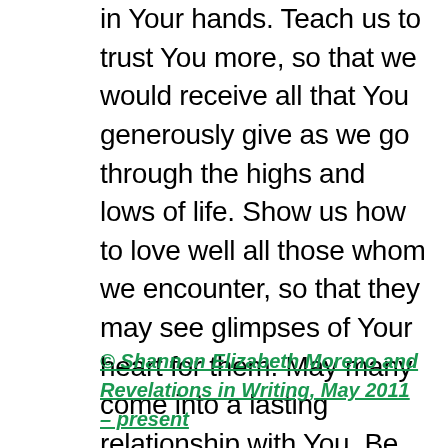in Your hands. Teach us to trust You more, so that we would receive all that You generously give as we go through the highs and lows of life. Show us how to love well all those whom we encounter, so that they may see glimpses of Your heart for them. May many come into a lasting relationship with You. Be glorified O God, as we praise You on every step of our path as You provide Your presence and Your peace. Amen.
© Shannon Elizabeth Moreno and Revelations in Writing, May 2011 – present